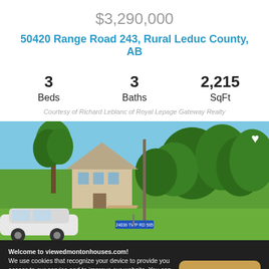$3,290,000
50420 Range Road 243, Rural Leduc County, AB
3 Beds   3 Baths   2,215 SqFt
Courtesy of Richard Leblanc of Royal Lepage Gateway Realty
[Figure (photo): Exterior photo of rural property showing a house surrounded by large trees with a gravel driveway, green lawn, and a road sign reading 24036 TWP RD 505. A white vehicle is parked in the foreground.]
Welcome to viewedmontonhouses.com! We use cookies that recognize your device to provide you access to our service and to improve our website. You can disable cookies through your browser but some features of the site will no longer be available. To read our Privacy Policy, click here.
ACCEPT